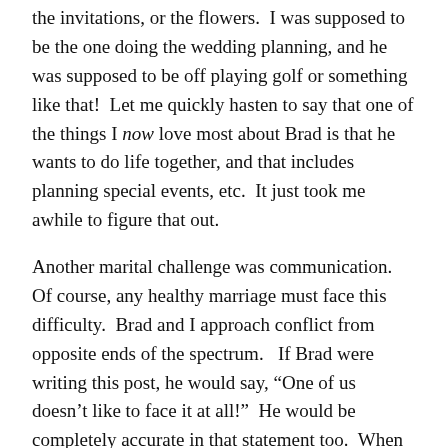the invitations, or the flowers.  I was supposed to be the one doing the wedding planning, and he was supposed to be off playing golf or something like that!  Let me quickly hasten to say that one of the things I now love most about Brad is that he wants to do life together, and that includes planning special events, etc.  It just took me awhile to figure that out.
Another marital challenge was communication.   Of course, any healthy marriage must face this difficulty.  Brad and I approach conflict from opposite ends of the spectrum.   If Brad were writing this post, he would say, “One of us doesn’t like to face it at all!”  He would be completely accurate in that statement too.  When it comes to conflict, I first try to avoid it, then I get quiet, and finally, I stuff my thoughts and feelings until they